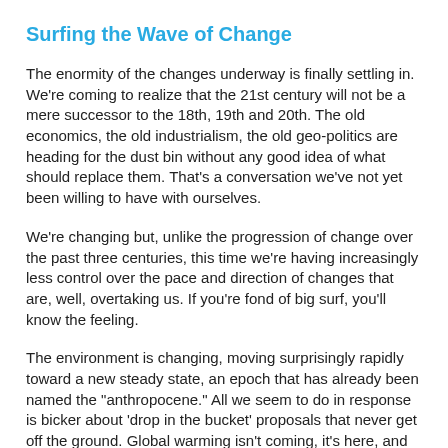Surfing the Wave of Change
The enormity of the changes underway is finally settling in. We're coming to realize that the 21st century will not be a mere successor to the 18th, 19th and 20th.   The old economics, the old industrialism, the old geo-politics are heading for the dust bin without any good idea of what should replace them.  That's a conversation we've not yet been willing to have with ourselves.
We're changing but, unlike the progression of change over the past three centuries, this time we're having increasingly less control over the pace and direction of changes that are, well, overtaking us.  If you're fond of big surf, you'll know the feeling.
The environment is changing, moving surprisingly rapidly toward a new steady state, an epoch that has already been named the "anthropocene."   All we seem to do in response is bicker about 'drop in the bucket' proposals that never get off the ground.   Global warming isn't coming, it's here, and